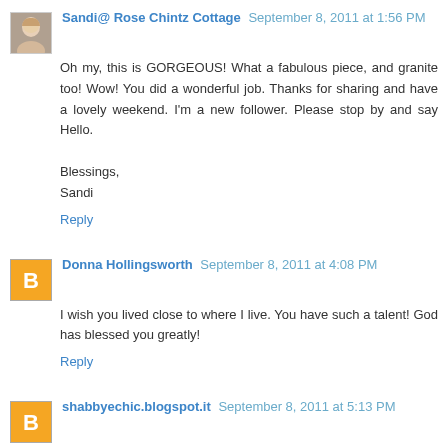[Figure (photo): Small avatar photo of Sandi, a woman with light hair]
Sandi@ Rose Chintz Cottage September 8, 2011 at 1:56 PM
Oh my, this is GORGEOUS! What a fabulous piece, and granite too! Wow! You did a wonderful job. Thanks for sharing and have a lovely weekend. I'm a new follower. Please stop by and say Hello.

Blessings,
Sandi
Reply
[Figure (logo): Blogger orange B icon avatar for Donna Hollingsworth]
Donna Hollingsworth September 8, 2011 at 4:08 PM
I wish you lived close to where I live. You have such a talent! God has blessed you greatly!
Reply
[Figure (logo): Blogger orange B icon avatar for shabbyechic.blogspot.it]
shabbyechic.blogspot.it September 8, 2011 at 5:13 PM